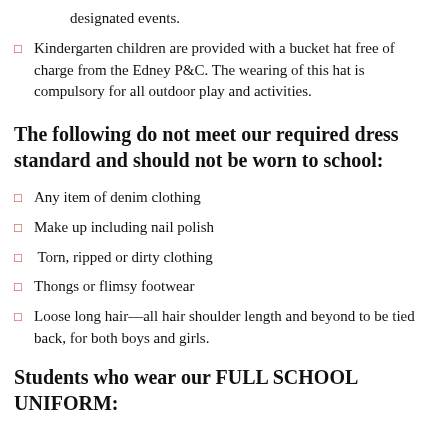designated events.
Kindergarten children are provided with a bucket hat free of charge from the Edney P&C. The wearing of this hat is compulsory for all outdoor play and activities.
The following do not meet our required dress standard and should not be worn to school:
Any item of denim clothing
Make up including nail polish
Torn, ripped or dirty clothing
Thongs or flimsy footwear
Loose long hair—all hair shoulder length and beyond to be tied back, for both boys and girls.
Students who wear our FULL SCHOOL UNIFORM: